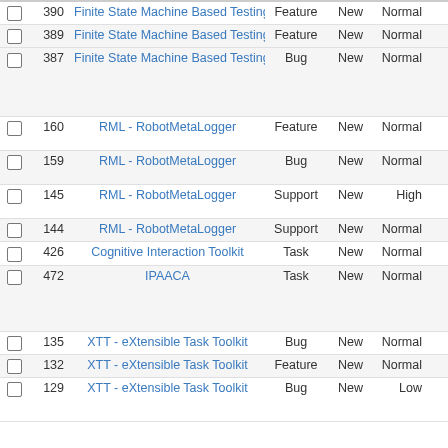|  | # | Project | Type | Status | Priority | Description |
| --- | --- | --- | --- | --- | --- | --- |
|  | 390 | Finite State Machine Based Testing | Feature | New | Normal |  |
|  | 389 | Finite State Machine Based Testing | Feature | New | Normal |  |
|  | 387 | Finite State Machine Based Testing | Bug | New | Normal |  |
|  | 160 | RML - RobotMetaLogger | Feature | New | Normal |  |
|  | 159 | RML - RobotMetaLogger | Bug | New | Normal |  |
|  | 145 | RML - RobotMetaLogger | Support | New | High |  |
|  | 144 | RML - RobotMetaLogger | Support | New | Normal |  |
|  | 426 | Cognitive Interaction Toolkit | Task | New | Normal |  |
|  | 472 | IPAACA | Task | New | Normal |  |
|  | 135 | XTT - eXtensible Task Toolkit | Bug | New | Normal |  |
|  | 132 | XTT - eXtensible Task Toolkit | Feature | New | Normal |  |
|  | 129 | XTT - eXtensible Task Toolkit | Bug | New | Low |  |